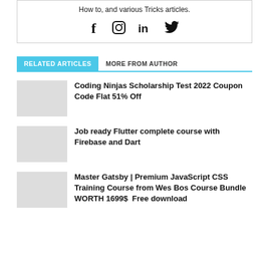How to, and various Tricks articles.
[Figure (infographic): Social media icons: Facebook (f), Instagram (circle with square), LinkedIn (in), Twitter (bird)]
RELATED ARTICLES   MORE FROM AUTHOR
Coding Ninjas Scholarship Test 2022 Coupon Code Flat 51% Off
Job ready Flutter complete course with Firebase and Dart
Master Gatsby | Premium JavaScript CSS Training Course from Wes Bos Course Bundle WORTH 1699$  Free download